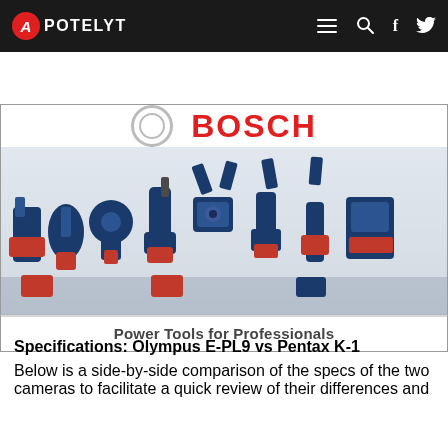APOTELYT
[Figure (photo): Bosch Power Tools for Professionals advertisement banner showing multiple blue and black power tools (drills, grinders, jigsaws, etc.) arranged on a white background, with the Bosch logo at the top and the tagline 'Power Tools for Professionals' at the bottom.]
Specifications: Olympus E-PL9 vs Pentax K-1
Below is a side-by-side comparison of the specs of the two cameras to facilitate a quick review of their differences and